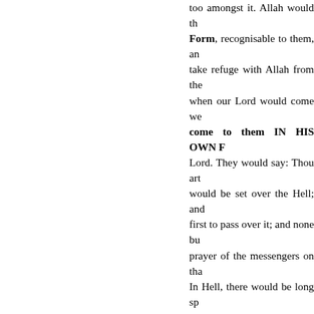too amongst it. Allah would th Form, recognisable to them, an take refuge with Allah from the when our Lord would come we come to them IN HIS OWN F Lord. They would say: Thou art would be set over the Hell; and first to pass over it; and none b prayer of the messengers on tha In Hell, there would be long sp said: Have you seen Sa'dan? Th those (hooks) would be like the Allah. These would seize peopl for their (good) deeds, and som salvation. When Allah would f mercy decide to take out of He the angels to bring out those wh Allah decided to show mercy to They (the angels) would recogni Hell-fire will devour everythin prostration. Allah has forbidden will be taken out of the Fire h poured over them, and they wi (Sahih Muslim, Book 001, Numb